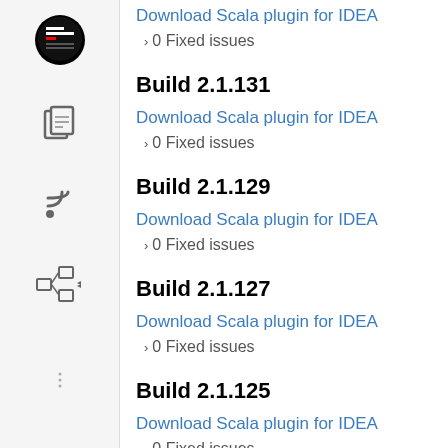Download Scala plugin for IDEA
0 Fixed issues
Build 2.1.131
Download Scala plugin for IDEA
0 Fixed issues
Build 2.1.129
Download Scala plugin for IDEA
0 Fixed issues
Build 2.1.127
Download Scala plugin for IDEA
0 Fixed issues
Build 2.1.125
Download Scala plugin for IDEA
0 Fixed issues